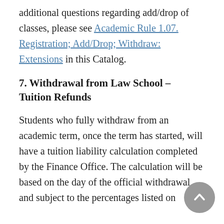additional questions regarding add/drop of classes, please see Academic Rule 1.07. Registration; Add/Drop; Withdraw: Extensions in this Catalog.
7. Withdrawal from Law School – Tuition Refunds
Students who fully withdraw from an academic term, once the term has started, will have a tuition liability calculation completed by the Finance Office. The calculation will be based on the day of the official withdrawal and subject to the percentages listed on